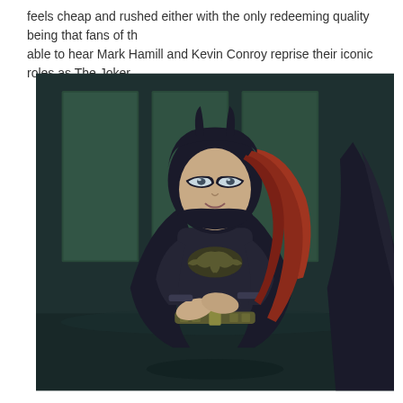feels cheap and rushed either with the only redeeming quality being that fans of th able to hear Mark Hamill and Kevin Conroy reprise their iconic roles as The Joker
[Figure (illustration): Animated scene from Batman: The Killing Joke showing Batgirl in her black costume with the bat symbol on her chest, wearing a black cowl and mask with red hair flowing behind her. She stands with her arms crossed. To the right edge is a partial view of Batman's cape. The background shows a dark, teal-tinted interior with large windows.]